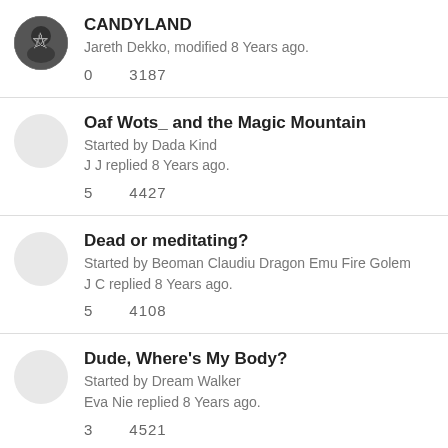CANDYLAND
Jareth Dekko, modified 8 Years ago.
0  3187
Oaf Wots_ and the Magic Mountain
Started by Dada Kind
J J replied 8 Years ago.
5  4427
Dead or meditating?
Started by Beoman Claudiu Dragon Emu Fire Golem
J C replied 8 Years ago.
5  4108
Dude, Where's My Body?
Started by Dream Walker
Eva Nie replied 8 Years ago.
3  4521